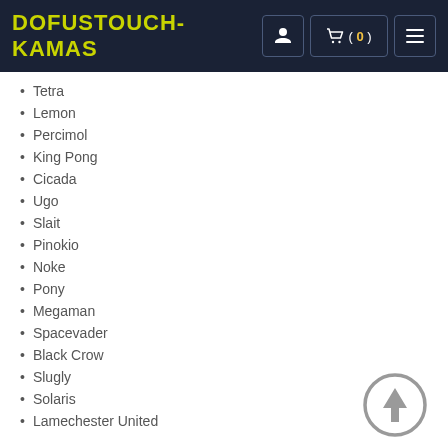DOFUSTOUCH-KAMAS
Tetra
Lemon
Percimol
King Pong
Cicada
Ugo
Slait
Pinokio
Noke
Pony
Megaman
Spacevader
Black Crow
Slugly
Solaris
Lamechester United
[Figure (other): Scroll-to-top button: a circle with an upward arrow inside]